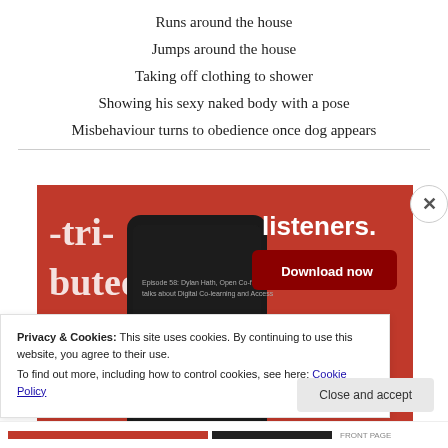Runs around the house
Jumps around the house
Taking off clothing to shower
Showing his sexy naked body with a pose
Misbehaviour turns to obedience once dog appears
[Figure (screenshot): Advertisement banner showing a smartphone with a podcast app on a red background with text 'listeners.' and a 'Download now' button. Partial text '-tri-buted' visible on left side.]
Privacy & Cookies: This site uses cookies. By continuing to use this website, you agree to their use.
To find out more, including how to control cookies, see here: Cookie Policy
Close and accept